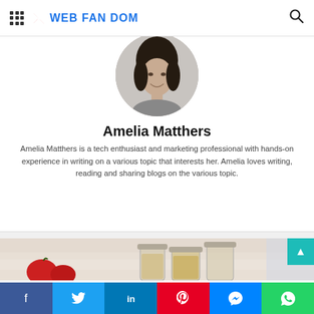WEB FAN DOM
[Figure (photo): Circular black-and-white portrait photo of Amelia Matthers, a young woman smiling]
Amelia Matthers
Amelia Matthers is a tech enthusiast and marketing professional with hands-on experience in writing on a various topic that interests her. Amelia loves writing, reading and sharing blogs on the various topic.
[Figure (photo): Photo of glass jars and apples on a fabric background, related to an article]
Facebook | Twitter | LinkedIn | Pinterest | Messenger | WhatsApp